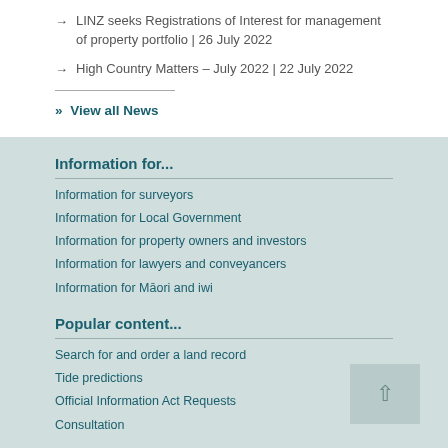→ LINZ seeks Registrations of Interest for management of property portfolio | 26 July 2022
→ High Country Matters – July 2022 | 22 July 2022
» View all News
Information for...
Information for surveyors
Information for Local Government
Information for property owners and investors
Information for lawyers and conveyancers
Information for Māori and iwi
Popular content...
Search for and order a land record
Tide predictions
Official Information Act Requests
Consultation